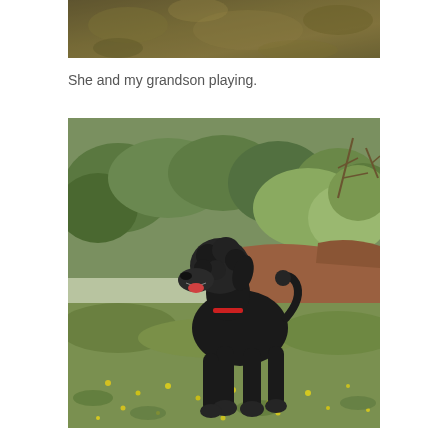[Figure (photo): Top portion of a photo showing a brownish-greenish blurred outdoor background, likely a continuation of the image below.]
She and my grandson playing.
[Figure (photo): A black standard poodle standing outdoors on grassy ground with small yellow wildflowers, with green shrubs and trees in the background. The dog has a red collar and its mouth is open.]